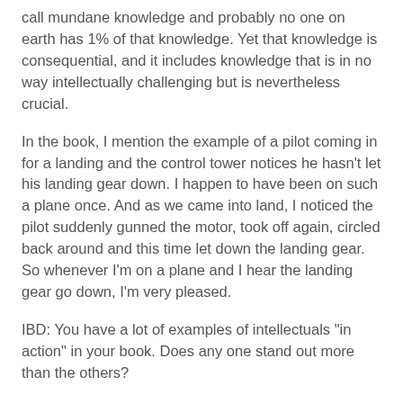call mundane knowledge and probably no one on earth has 1% of that knowledge. Yet that knowledge is consequential, and it includes knowledge that is in no way intellectually challenging but is nevertheless crucial.
In the book, I mention the example of a pilot coming in for a landing and the control tower notices he hasn't let his landing gear down. I happen to have been on such a plane once. And as we came into land, I noticed the pilot suddenly gunned the motor, took off again, circled back around and this time let down the landing gear. So whenever I'm on a plane and I hear the landing gear go down, I'm very pleased.
IBD: You have a lot of examples of intellectuals "in action" in your book. Does any one stand out more than the others?
Sowell: The one that stands out more in my mind is the promotion of disarmament during the 1930s while Hitler and Japan were arming.